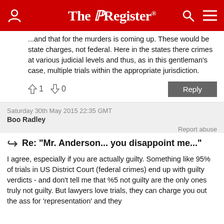The Register
...and that for the murders is coming up. These would be state charges, not federal. Here in the states there crimes at various judicial levels and thus, as in this gentleman's case, multiple trials within the appropriate jurisdiction.
↑1  ↓0
Saturday 30th May 2015 22:35 GMT
Boo Radley
Report abuse
Re: "Mr. Anderson... you disappoint me..."
I agree, especially if you are actually guilty. Something like 95% of trials in US District Court (federal crimes) end up with guilty verdicts - and don't tell me that %5 not guilty are the only ones truly not guilty. But lawyers love trials, they can charge you out the ass for 'representation' and they